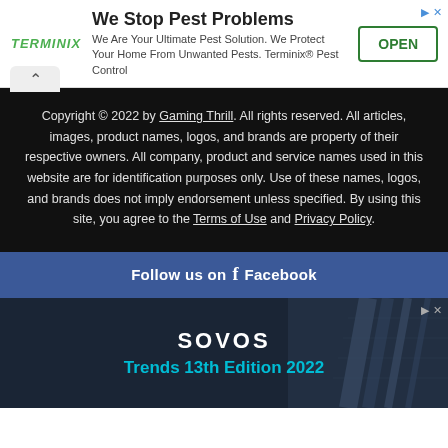[Figure (other): Terminix advertisement banner: 'We Stop Pest Problems' with OPEN button]
Copyright © 2022 by Gaming Thrill. All rights reserved. All articles, images, product names, logos, and brands are property of their respective owners. All company, product and service names used in this website are for identification purposes only. Use of these names, logos, and brands does not imply endorsement unless specified. By using this site, you agree to the Terms of Use and Privacy Policy.
Follow us on f Facebook
[Figure (other): Sovos advertisement: SOVOS logo with 'Trends 13th Edition 2022' tagline on dark background with building photo]